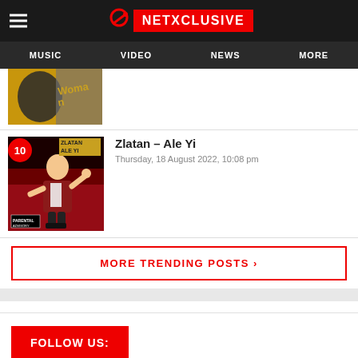NETXCLUSIVE — MUSIC | VIDEO | NEWS | MORE
[Figure (screenshot): Partial thumbnail of a music cover art with 'Woman' text visible, dark and gold tones]
[Figure (screenshot): Album cover for Zlatan – Ale Yi showing animated character in suit with number 10 badge]
Zlatan – Ale Yi
Thursday, 18 August 2022, 10:08 pm
MORE TRENDING POSTS ›
FOLLOW US: